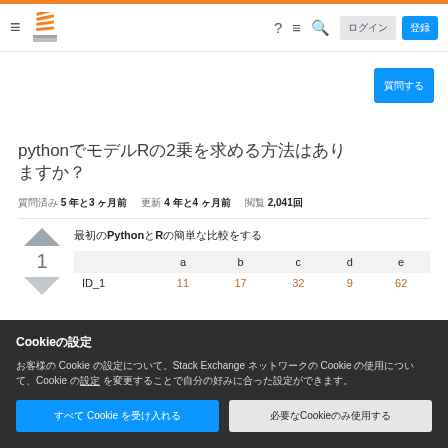Stack Overflow navigation header with logo, hamburger menu, search, help, chat icons, and login/signup buttons
pythonでモデルRの2乗を求める方法はありますか？
質問済み 5 年と3 ヶ月前　更新 4 年と4 ヶ月前　閲覧 2,041回
最初のPythonとRの簡単な比較をする
|  | a | b | c | d | e |
| --- | --- | --- | --- | --- | --- |
| ID_1 | 11 | 17 | 32 | 9 | 62 |
Cookieの設定
お客様のCookie の設定について。Stack Exchange ネットワークのCookie の使用について、Cookie の設定 を変更することで自分の好みに合った設定ができます。
すべての Cookie を受け入れる　必要なCookieのみ使用する